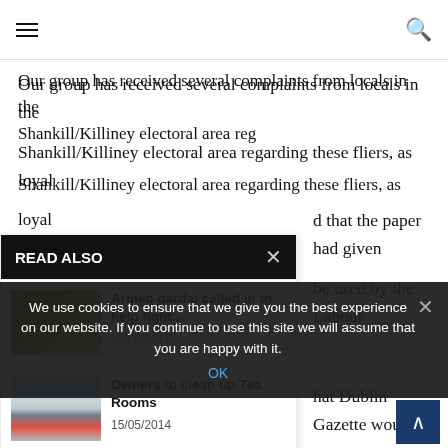Navigation header with hamburger menu and search icon
Our group has received several complaints from locals in the Shankill/Killiney electoral area regarding these fliers, as loyal ... d that the paper had given ... be used by the Labour ... hat Dublin Gazette would ... on, to be aligned to an ... ourselves on being an unbiased ... iliated with any political party.
READ ALSO
[Figure (photo): Outdoor scene with overgrown vegetation and debris]
Armed gardai called in to help fight...
23/08/2017
[Figure (photo): Outdoor scene with buildings and colorful objects]
Owners to clean up Tea Rooms
15/05/2014
[Figure (photo): Brown/sandy outdoor scene]
closing its doors... this...
25/09/2019
We use cookies to ensure that we give you the best experience on our website. If you continue to use this site we will assume that you are happy with it.
OK
our readers that we do not — and